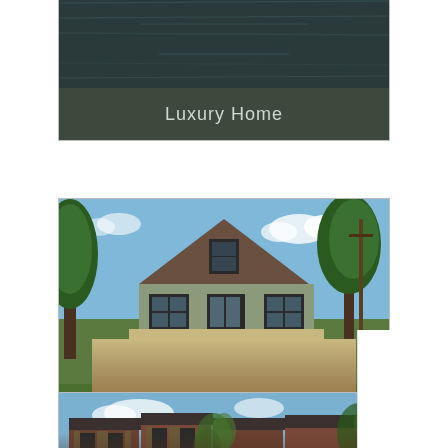[Figure (photo): Real estate category card showing 'Luxury Home' with dark pool/water reflection image and dark olive label bar at bottom]
[Figure (photo): Real estate category card showing 'Rentals' with photo of a craftsman-style house surrounded by trees, dark olive label bar at bottom]
[Figure (photo): Real estate category card (partially visible) showing brick townhouse buildings with ivy/vegetation, cut off at bottom of page]